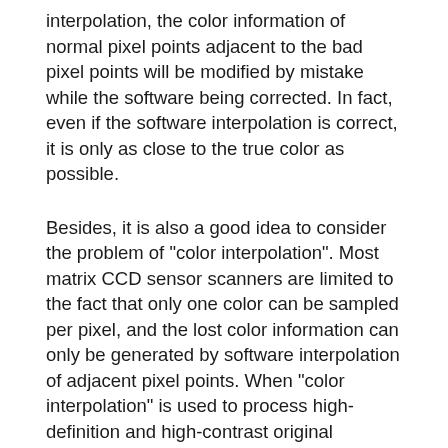interpolation, the color information of normal pixel points adjacent to the bad pixel points will be modified by mistake while the software being corrected. In fact, even if the software interpolation is correct, it is only as close to the true color as possible.
Besides, it is also a good idea to consider the problem of "color interpolation". Most matrix CCD sensor scanners are limited to the fact that only one color can be sampled per pixel, and the lost color information can only be generated by software interpolation of adjacent pixel points. When "color interpolation" is used to process high-definition and high-contrast original documents, the image will be distorted due to "moire effect". In order to solve this problem, when making digital instructions, the German Research Foundation proposed to use linear CCD scanner when scanning delicate patterns and intaglio printing data.